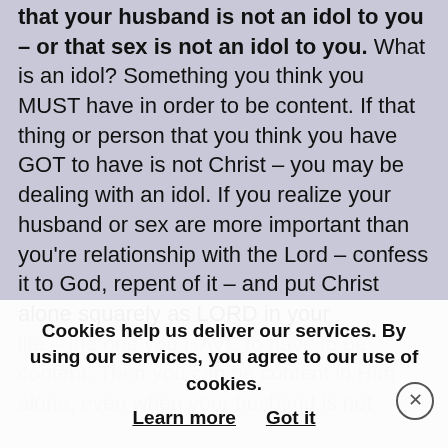that your husband is not an idol to you – or that sex is not an idol to you. What is an idol? Something you think you MUST have in order to be content. If that thing or person that you think you have GOT to have is not Christ – you may be dealing with an idol. If you realize your husband or sex are more important than you're relationship with the Lord – confess it to God, repent of it – and put Christ alone squarely as LORD in your life – the one you HAVE to have to be content. Then you can be content in Him alone, even when your husband is not
Cookies help us deliver our services. By using our services, you agree to our use of cookies. Learn more  Got it